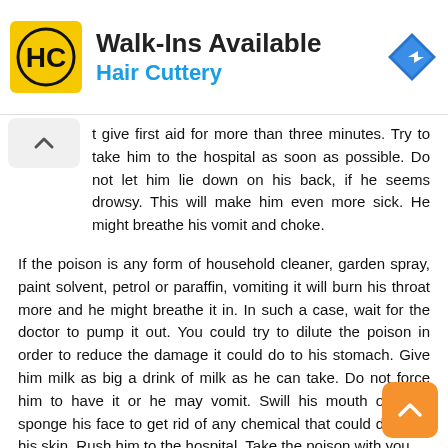[Figure (logo): Hair Cuttery advertisement banner with HC logo, Walk-Ins Available text and navigation icon]
t give first aid for more than three minutes. Try to take him to the hospital as soon as possible. Do not let him lie down on his back, if he seems drowsy. This will make him even more sick. He might breathe his vomit and choke.
If the poison is any form of household cleaner, garden spray, paint solvent, petrol or paraffin, vomiting it will burn his throat more and he might breathe it in. In such a case, wait for the doctor to pump it out. You could try to dilute the poison in order to reduce the damage it could do to his stomach. Give him milk as big a drink of milk as he can take. Do not force him to have it or he may vomit. Swill his mouth out and sponge his face to get rid of any chemical that could damage his skin. Rush him to the hospital. Take the poison with you.
Safety Tips
Children between one and five will try out anything that they happen